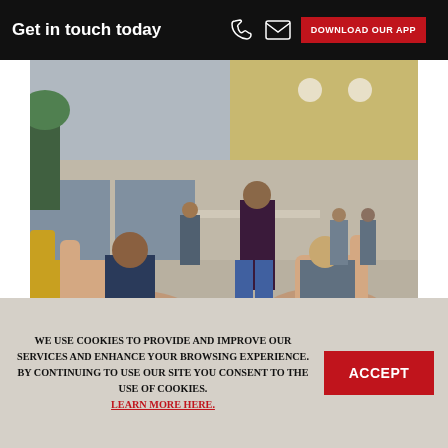Get in touch today   DOWNLOAD OUR APP
[Figure (photo): Office co-working space with people sitting and talking in lounge chairs in the foreground, and others working at desks in the background]
Co-working
WE USE COOKIES TO PROVIDE AND IMPROVE OUR SERVICES AND ENHANCE YOUR BROWSING EXPERIENCE. BY CONTINUING TO USE OUR SITE YOU CONSENT TO THE USE OF COOKIES. LEARN MORE HERE.